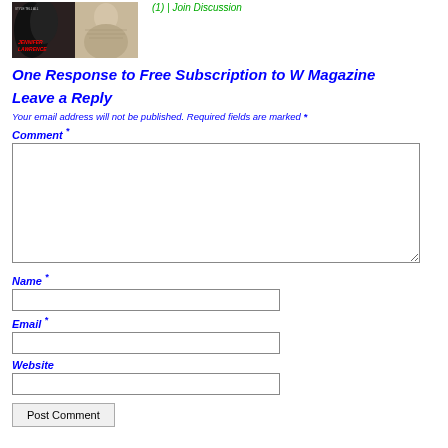[Figure (photo): Two magazine covers side by side: left cover shows Jennifer Lawrence in black feathered outfit, right cover shows a woman in fur coat]
(1) | Join Discussion
One Response to Free Subscription to W Magazine
Leave a Reply
Your email address will not be published. Required fields are marked *
Comment *
Name *
Email *
Website
Post Comment